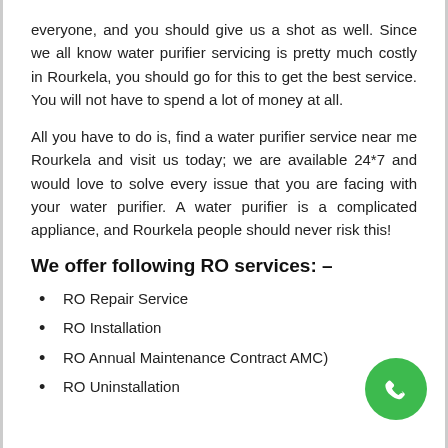everyone, and you should give us a shot as well. Since we all know water purifier servicing is pretty much costly in Rourkela, you should go for this to get the best service. You will not have to spend a lot of money at all.
All you have to do is, find a water purifier service near me Rourkela and visit us today; we are available 24*7 and would love to solve every issue that you are facing with your water purifier. A water purifier is a complicated appliance, and Rourkela people should never risk this!
We offer following RO services: –
RO Repair Service
RO Installation
RO Annual Maintenance Contract AMC)
RO Uninstallation